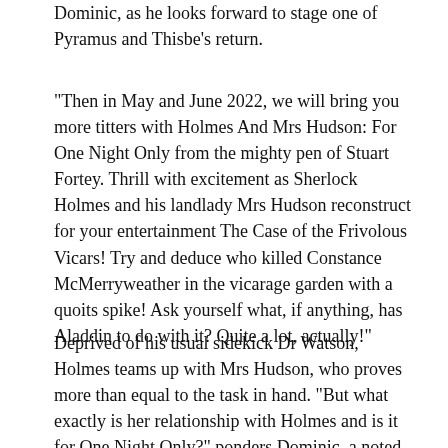Dominic, as he looks forward to stage one of Pyramus and Thisbe's return.
“Then in May and June 2022, we will bring you more titters with Holmes And Mrs Hudson: For One Night Only from the mighty pen of Stuart Fortey. Thrill with excitement as Sherlock Holmes and his landlady Mrs Hudson reconstruct for your entertainment The Case of the Frivolous Vicars! Try and deduce who killed Constance McMerryweather in the vicarage garden with a quoits spike! Ask yourself what, if anything, has Aladdin to do with it? Quite a lot, actually!”
Deprived of his usual sidekick Dr Watson, Holmes teams up with Mrs Hudson, who proves more than equal to the task in hand. “But what exactly is her relationship with Holmes and is it for One Night Only?” ponders Dominic, a noted pantomime dame, who will be raiding the female wardrobe once more to play Mrs Hudson.